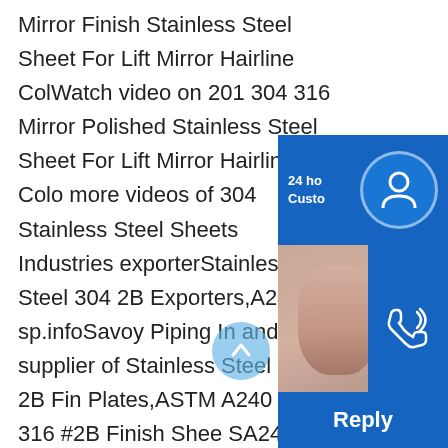Mirror Finish Stainless Steel Sheet For Lift Mirror Hairline ColWatch video on 201 304 316 Mirror Polished Stainless Steel Sheet For Lift Mirror Hairline Colo more videos of 304 Stainless Steel Sheets Industries exporterStainless Steel 304 2B Exporters,A240 SS sp.infoSavoy Piping In and supplier of Stainless Steel 304 2B Fin Plates,ASTM A240 SS 316 #2B Finish Shee SA240 Alloy 304L 2B Finish Coils,UNS S30 S31600 No.2B Mill Finish Sheets,SS DIN 1.4 #2B Finish Steel Sheets,316L Stainless Steel 2B Finish HR / CR Coils Inventory in Mumbai India.2b finish 201 stainless steel sheet,2b finish 201
[Figure (screenshot): Customer service chat widget panel on right side showing: 24-hour customer support icon (blue background with headset icon), phone support widget with photo of woman and phone icon, Skype chat widget with Skype icon and Chat Now button in red, scroll-up button, and Reply button at bottom right.]